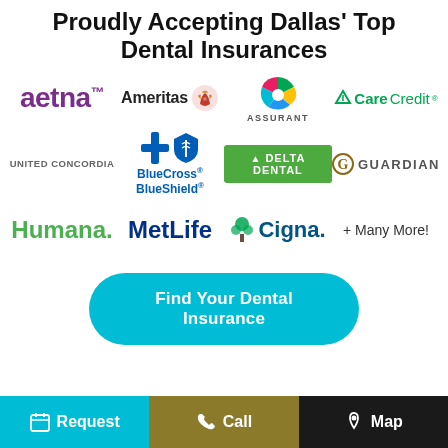Proudly Accepting Dallas' Top Dental Insurances
[Figure (logo): Insurance company logos grid: Aetna, Ameritas, Assurant, CareCredit, United Concordia, BlueCross BlueShield, Delta Dental, Guardian, Humana, MetLife, Cigna, + Many More!]
Find Your Dental Insurance
Request  |  Call  |  Map